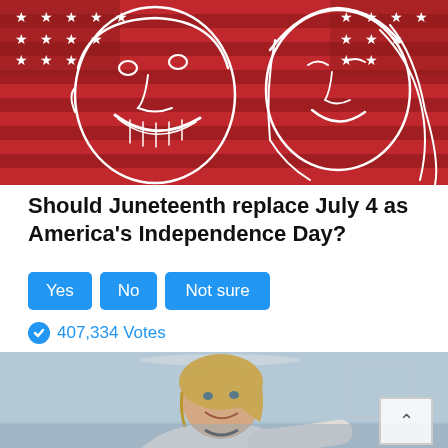[Figure (illustration): Red background illustration with white line-art caricatures of two people smiling, with American flag stars and stripes motif]
Should Juneteenth replace July 4 as America's Independence Day?
[Figure (infographic): Three blue voting buttons labeled Yes, No, Not sure]
407,334 Votes
[Figure (photo): Photo of Hillary Clinton smiling in a formal interior setting with chandelier, wearing a light-colored blazer]